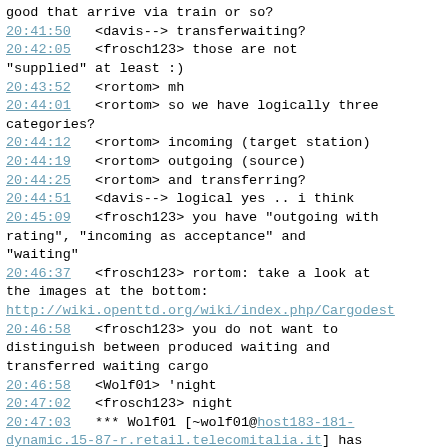good that arrive via train or so?
20:41:50   <davis--> transferwaiting?
20:42:05   <frosch123> those are not "supplied" at least :)
20:43:52   <rortom> mh
20:44:01   <rortom> so we have logically three categories?
20:44:12   <rortom> incoming (target station)
20:44:19   <rortom> outgoing (source)
20:44:25   <rortom> and transferring?
20:44:51   <davis--> logical yes .. i think
20:45:09   <frosch123> you have "outgoing with rating", "incoming as acceptance" and "waiting"
20:46:37   <frosch123> rortom: take a look at the images at the bottom:
http://wiki.openttd.org/wiki/index.php/Cargodest
20:46:58   <frosch123> you do not want to distinguish between produced waiting and transferred waiting cargo
20:46:58   <Wolf01> 'night
20:47:02   <frosch123> night
20:47:03   *** Wolf01 [~wolf01@host183-181-dynamic.15-87-r.retail.telecomitalia.it] has quit [Quit: Once again the world is quick to bury me.]
20:47:12   <ln-> frosch123: you succeeded \o/
20:47:24   <frosch123> yeah, but for Wolf was not enough time :)
20:54:40   <arachnid> Do the OTTD routing